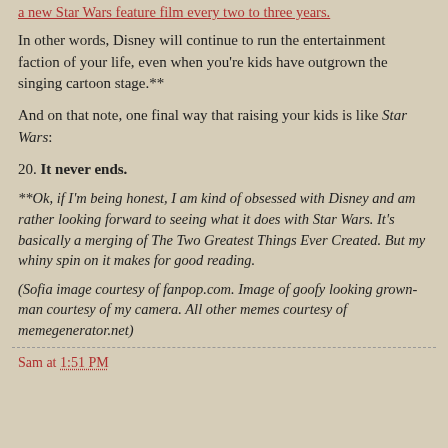a new Star Wars feature film every two to three years.
In other words, Disney will continue to run the entertainment faction of your life, even when you're kids have outgrown the singing cartoon stage.**
And on that note, one final way that raising your kids is like Star Wars:
20. It never ends.
**Ok, if I'm being honest, I am kind of obsessed with Disney and am rather looking forward to seeing what it does with Star Wars. It's basically a merging of The Two Greatest Things Ever Created. But my whiny spin on it makes for good reading.
(Sofia image courtesy of fanpop.com. Image of goofy looking grown-man courtesy of my camera. All other memes courtesy of memegenerator.net)
Sam at 1:51 PM